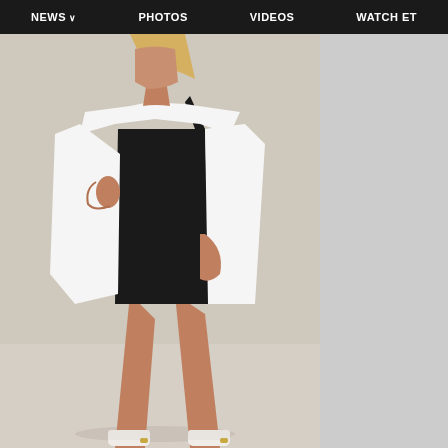NEWS  PHOTOS  VIDEOS  WATCH ET
[Figure (photo): A woman wearing a black one-shoulder mini dress and white oversized jacket draped over her shoulders, paired with white sneakers. She is posing against a beige/cream background. The image shows her from approximately the neck down.]